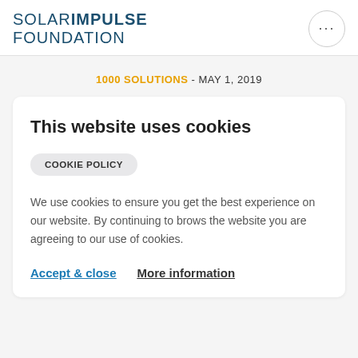SOLAR IMPULSE FOUNDATION
1000 SOLUTIONS - MAY 1, 2019
This website uses cookies
COOKIE POLICY
We use cookies to ensure you get the best experience on our website. By continuing to brows the website you are agreeing to our use of cookies.
Accept & close   More information